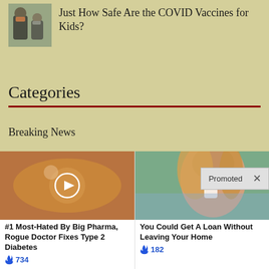[Figure (photo): Photo of two people wearing masks outdoors]
Just How Safe Are the COVID Vaccines for Kids?
Categories
Breaking News
Business News
Policy
Promoted ×
[Figure (photo): Close-up of a caramel-colored food item with a video play button overlay]
#1 Most-Hated By Big Pharma, Rogue Doctor Fixes Type 2 Diabetes
🔥 734
[Figure (photo): Woman with glasses drinking from a cup outdoors]
You Could Get A Loan Without Leaving Your Home
🔥 182